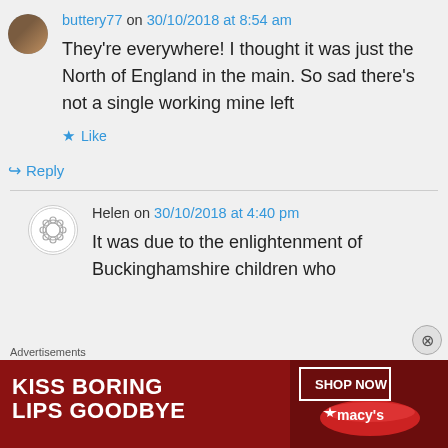buttery77 on 30/10/2018 at 8:54 am
They're everywhere! I thought it was just the North of England in the main. So sad there's not a single working mine left
Like
Reply
Helen on 30/10/2018 at 4:40 pm
It was due to the enlightenment of Buckinghamshire children who
Advertisements
[Figure (screenshot): Advertisement banner: KISS BORING LIPS GOODBYE with SHOP NOW button and Macy's star logo on dark red background]